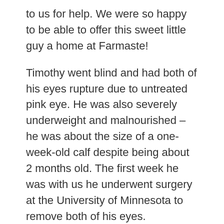to us for help. We were so happy to be able to offer this sweet little guy a home at Farmaste!
Timothy went blind and had both of his eyes rupture due to untreated pink eye. He was also severely underweight and malnourished – he was about the size of a one-week-old calf despite being about 2 months old. The first week he was with us he underwent surgery at the University of Minnesota to remove both of his eyes. Removing his infected eyes reduced his discomfort and allowed his body to continue to grow stronger as it no longer had to fight that infection.